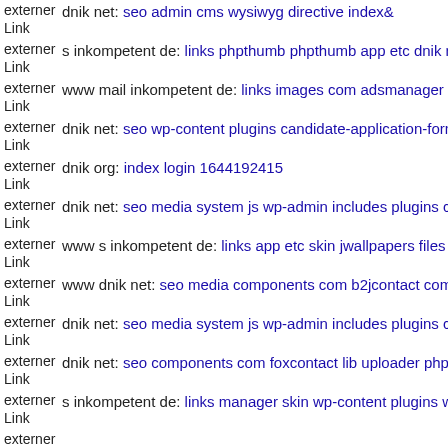externer Link dnik net: seo admin cms wysiwyg directive index&
externer Link s inkompetent de: links phpthumb phpthumb app etc dnik n
externer Link www mail inkompetent de: links images com adsmanager d
externer Link dnik net: seo wp-content plugins candidate-application-form
externer Link dnik org: index login 1644192415
externer Link dnik net: seo media system js wp-admin includes plugins co
externer Link www s inkompetent de: links app etc skin jwallpapers files
externer Link www dnik net: seo media components com b2jcontact comp
externer Link dnik net: seo media system js wp-admin includes plugins co
externer Link dnik net: seo components com foxcontact lib uploader php
externer Link s inkompetent de: links manager skin wp-content plugins w
externer